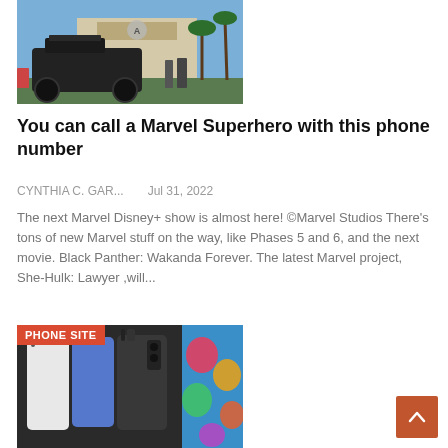[Figure (photo): A large black military-style armored vehicle parked in front of a building with an Avengers logo, palm trees and blue sky in background, with people around it.]
You can call a Marvel Superhero with this phone number
CYNTHIA C. GAR...    Jul 31, 2022
The next Marvel Disney+ show is almost here! ©Marvel Studios There's tons of new Marvel stuff on the way, like Phases 5 and 6, and the next movie. Black Panther: Wakanda Forever. The latest Marvel project, She-Hulk: Lawyer ,will...
[Figure (photo): Two images side by side: left shows multiple Redmi smartphones in different colors (white, blue, black); right shows colorful balloon-like shapes on a blue background, likely a phone wallpaper or case. A red badge reads PHONE SITE.]